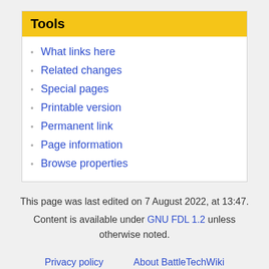Tools
What links here
Related changes
Special pages
Printable version
Permanent link
Page information
Browse properties
This page was last edited on 7 August 2022, at 13:47. Content is available under GNU FDL 1.2 unless otherwise noted.
Privacy policy  About BattleTechWiki  Disclaimers  By Nic J  Support Sarna! Merch / Bitcoin / Paypal  Manage Cookies